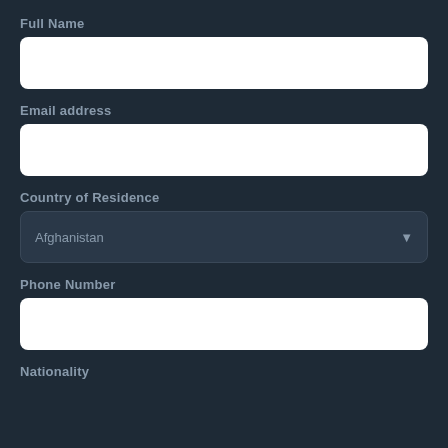Full Name
[Figure (other): Empty white text input field for Full Name]
Email address
[Figure (other): Empty white text input field for Email address]
Country of Residence
[Figure (other): Dropdown select field showing Afghanistan with down arrow]
Phone Number
[Figure (other): Empty white text input field for Phone Number]
Nationality